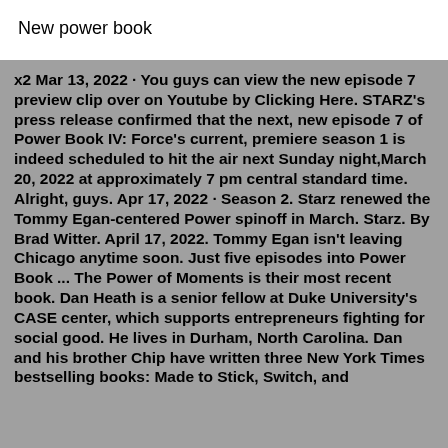New power book
x2 Mar 13, 2022 · You guys can view the new episode 7 preview clip over on Youtube by Clicking Here. STARZ's press release confirmed that the next, new episode 7 of Power Book IV: Force's current, premiere season 1 is indeed scheduled to hit the air next Sunday night,March 20, 2022 at approximately 7 pm central standard time. Alright, guys. Apr 17, 2022 · Season 2. Starz renewed the Tommy Egan-centered Power spinoff in March. Starz. By Brad Witter. April 17, 2022. Tommy Egan isn't leaving Chicago anytime soon. Just five episodes into Power Book ... The Power of Moments is their most recent book. Dan Heath is a senior fellow at Duke University's CASE center, which supports entrepreneurs fighting for social good. He lives in Durham, North Carolina. Dan and his brother Chip have written three New York Times bestselling books: Made to Stick, Switch, and